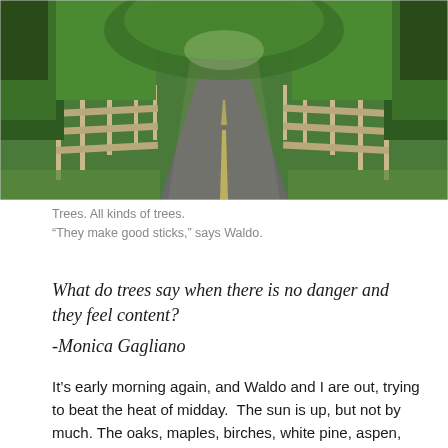[Figure (photo): A paved two-lane road stretching into the distance, flanked on both sides by wooden split-rail fences and dense green trees forming a canopy overhead. Sunlight filters through the foliage.]
Trees. All kinds of trees.
“They make good sticks,” says Waldo.
What do trees say when there is no danger and they feel content?

-Monica Gagliano
It’s early morning again, and Waldo and I are out, trying to beat the heat of midday.  The sun is up, but not by much. The oaks, maples, birches, white pine, aspen, hickory and many other species, tower above us and provide long and wide shadows that protect us from direct sunlight.  Their leaves block the brightest light of the sun and leave behind gentle